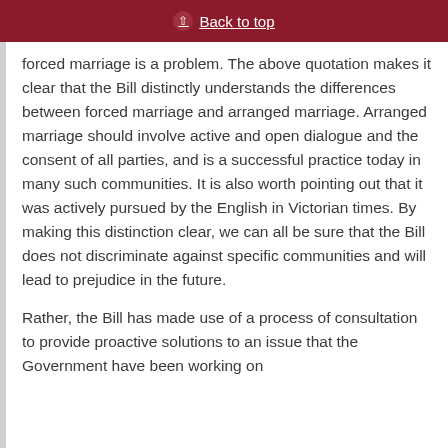Back to top
forced marriage is a problem. The above quotation makes it clear that the Bill distinctly understands the differences between forced marriage and arranged marriage. Arranged marriage should involve active and open dialogue and the consent of all parties, and is a successful practice today in many such communities. It is also worth pointing out that it was actively pursued by the English in Victorian times. By making this distinction clear, we can all be sure that the Bill does not discriminate against specific communities and will lead to prejudice in the future.
Rather, the Bill has made use of a process of consultation to provide proactive solutions to an issue that the Government have been working on